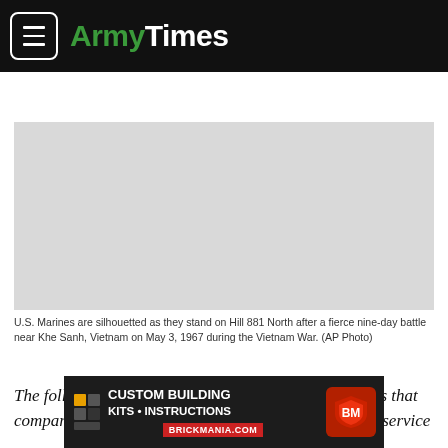ArmyTimes
[Figure (photo): Gray placeholder rectangle representing a photo of U.S. Marines silhouetted on Hill 881 North near Khe Sanh, Vietnam]
U.S. Marines are silhouetted as they stand on Hill 881 North after a fierce nine-day battle near Khe Sanh, Vietnam on May 3, 1967 during the Vietnam War. (AP Photo)
The following commentary is part of an ongoing series that compares the challenges in Vietnam to the challenges service
[Figure (photo): Bottom advertisement banner: CUSTOM BUILDING KITS • INSTRUCTIONS BRICKMANIA.COM]